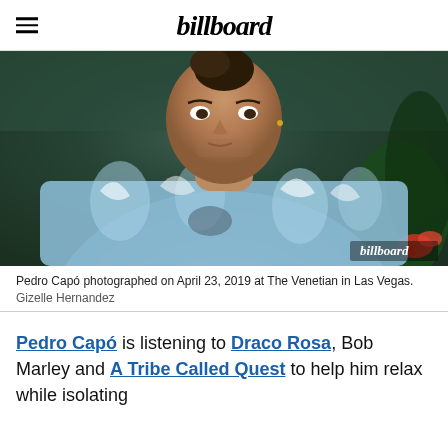billboard
[Figure (photo): Pedro Capó photographed at The Venetian in Las Vegas, wearing a floral Hawaiian shirt open at the chest, with tattoos visible, hair tied up, tropical foliage in background, Billboard watermark in bottom right.]
Pedro Capó photographed on April 23, 2019 at The Venetian in Las Vegas.
Gizelle Hernandez
Pedro Capó is listening to Draco Rosa, Bob Marley and A Tribe Called Quest to help him relax while isolating